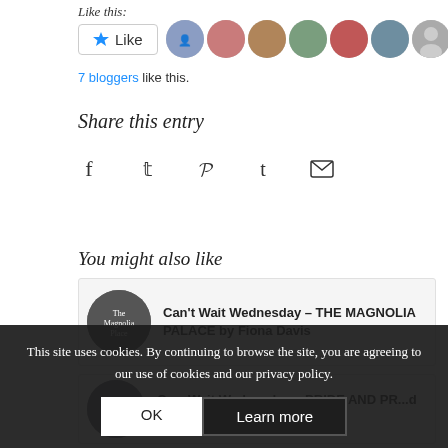Like this:
[Figure (screenshot): Like button with star icon and 7 blogger avatars]
7 bloggers like this.
Share this entry
[Figure (infographic): Social share icons: Facebook, Twitter, Pinterest, Tumblr, Email]
You might also like
[Figure (illustration): Card: Can't Wait Wednesday – THE MAGNOLIA PALACE by Fiona Davis]
[Figure (illustration): Card: Can't Wait Wednesday – PRIDE AND PREJUDICE by Tirzah Price]
This site uses cookies. By continuing to browse the site, you are agreeing to our use of cookies and our privacy policy.